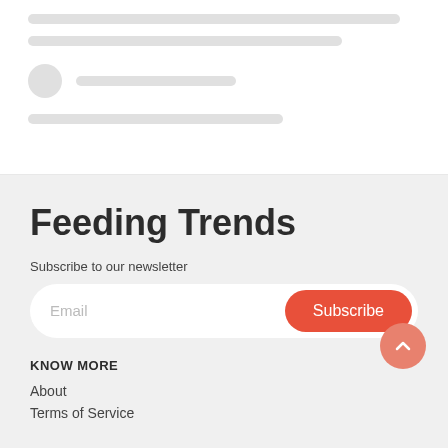[Figure (screenshot): Skeleton loading placeholder UI with gray lines and avatar circle representing a blurred/loading content card]
Feeding Trends
Subscribe to our newsletter
Email
Subscribe
KNOW MORE
About
Terms of Service